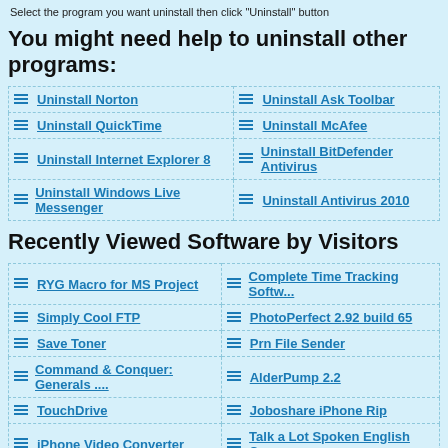Select the program you want uninstall then click "Uninstall" button
You might need help to uninstall other programs:
Uninstall Norton
Uninstall Ask Toolbar
Uninstall QuickTime
Uninstall McAfee
Uninstall Internet Explorer 8
Uninstall BitDefender Antivirus
Uninstall Windows Live Messenger
Uninstall Antivirus 2010
Recently Viewed Software by Visitors
RYG Macro for MS Project
Complete Time Tracking Softw...
Simply Cool FTP
PhotoPerfect 2.92 build 65
Save Toner
Prn File Sender
Command & Conquer: Generals ....
AlderPump 2.2
TouchDrive
Joboshare iPhone Rip
iPhone Video Converter
Talk a Lot Spoken English Co...
Time-Windows 2.5
MotelMax - Reservation Softw...
PDF Password Remover
AllWebMenus WordPress Menu A...